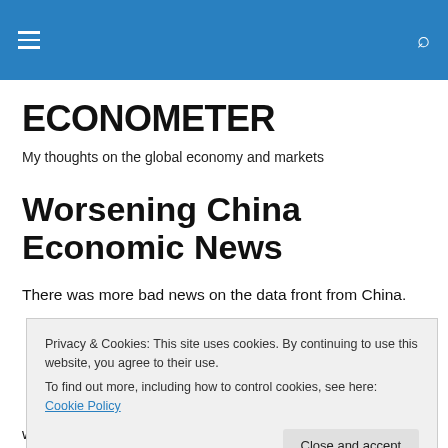ECONOMETER navigation bar
ECONOMETER
My thoughts on the global economy and markets
Worsening China Economic News
There was more bad news on the data front from China.
Privacy & Cookies: This site uses cookies. By continuing to use this website, you agree to their use.
To find out more, including how to control cookies, see here: Cookie Policy
weighted towards smaller companies is more sensitive to